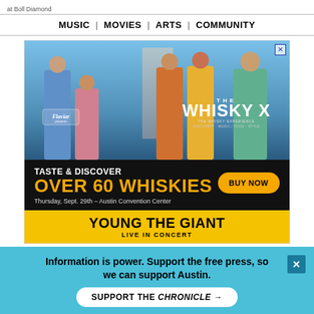at Boll Diamond
MUSIC | MOVIES | ARTS | COMMUNITY
[Figure (photo): Advertisement for Whisky X event featuring Flaviar. Shows five stylishly dressed men against a blue sky background. Text reads: TASTE & DISCOVER OVER 60 WHISKIES, Thursday, Sept. 29th – Austin Convention Center, with a BUY NOW button. Bottom section in gold: YOUNG THE GIANT LIVE IN CONCERT.]
[Figure (photo): Top Stories section banner with green glittery lettering on dark green background, red TOP STORIES badge on left, AC logo badge on right.]
Information is power. Support the free press, so we can support Austin.
SUPPORT THE CHRONICLE →